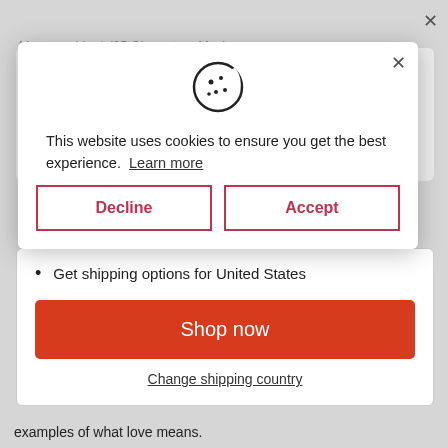Message Line* (25 Characters Max)
[Figure (screenshot): Cookie consent modal overlay with cookie icon, message about website using cookies, Learn more link, and Decline/Accept buttons]
This website uses cookies to ensure you get the best experience.
Learn more
Decline
Accept
Butler and Hill UK ships to United States
Shop in USD $
Get shipping options for United States
Shop now
Change shipping country
examples of what love means.